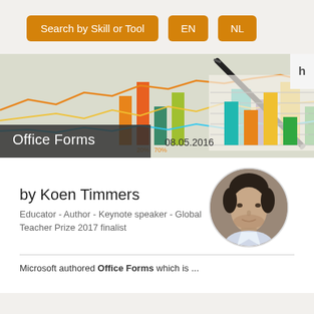[Figure (screenshot): Navigation bar with orange buttons: 'Search by Skill or Tool', 'EN', 'NL']
[Figure (photo): Hero banner image showing charts, graphs, and a pen on paper, with 'Office Forms' title overlay and date '08.05.2016']
[Figure (photo): Circular portrait photo of Koen Timmers, a man with dark hair]
by Koen Timmers
Educator - Author - Keynote speaker - Global Teacher Prize 2017 finalist
Microsoft authored Office Forms which is...